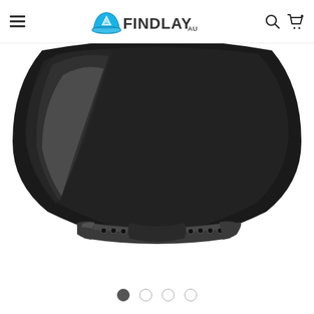Findlay AU — navigation header with hamburger menu, logo, search and cart icons
[Figure (photo): Close-up product photo showing the back of a black snapback cap with an adjustable snapback plastic strap, viewed from below at an angle. The cap fabric is black, and the adjustable closure is a dark grey/black plastic strip with small holes.]
[Figure (other): Four navigation dots below the product image indicating a carousel with 4 slides; first dot is filled/active, the remaining three are outlined.]